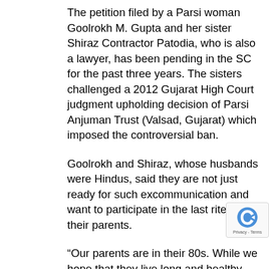The petition filed by a Parsi woman Goolrokh M. Gupta and her sister Shiraz Contractor Patodia, who is also a lawyer, has been pending in the SC for the past three years. The sisters challenged a 2012 Gujarat High Court judgment upholding decision of Parsi Anjuman Trust (Valsad, Gujarat) which imposed the controversial ban.
Goolrokh and Shiraz, whose husbands were Hindus, said they are not just ready for such excommunication and want to participate in the last rites of their parents.
“Our parents are in their 80s. While we hope that they live long and healthy lives, life is not certain. In the unfortunate event of either of our parents, we have a right to attend the funeral, participate and perform the last rites as per the Parsi Zoroastrian religion.” Shiraz